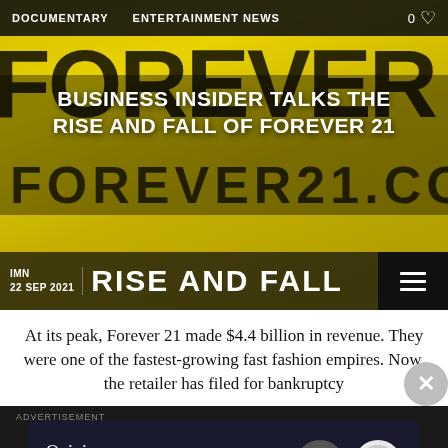DOCUMENTARY   ENTERTAINMENT NEWS   0
[Figure (photo): Yellow Forever 21 shopping bag with FOREVER 21 logo text and FOREVER21.COM url, used as hero image background]
BUSINESS INSIDER TALKS THE RISE AND FALL OF FOREVER 21
IMN | 22 SEP 2021   RISE AND FALL
At its peak, Forever 21 made $4.4 billion in revenue. They were one of the fastest-growing fast fashion empires. Now, the retailer has filed for bankruptcy
[Figure (other): Advertisement banner: Opinions. We all have them! with WordPress and Ring logos]
Advertisement